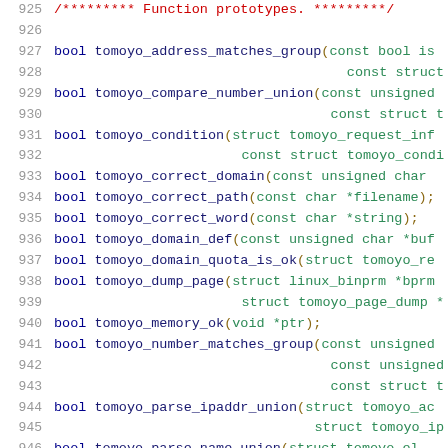[Figure (screenshot): Source code listing showing C function prototypes for the tomoyo Linux Security Module, lines 925-946, with line numbers in gray and syntax highlighting in blue/dark blue for keywords and function names, red for comments.]